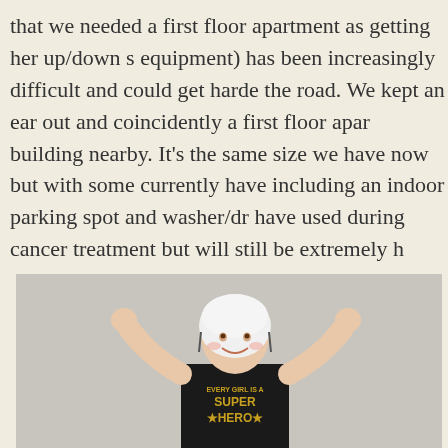that we needed a first floor apartment as getting her up/down s equipment) has been increasingly difficult and could get harde the road. We kept an ear out and coincidently a first floor apar building nearby. It's the same size we have now but with some currently have including an indoor parking spot and washer/dr have used during cancer treatment but will still be extremely h challenges. It's also rent-stablized so the rent can only be incre us it was a no brainer, as we wanted to stay in our supportive c knew the rareness of apartments like this here.
[Figure (photo): A young child wearing a white protective helmet, dressed in a black t-shirt reading 'EVERY GIRL IS A SUPER HERO', with both arms raised in a triumphant pose, photographed against a gray background.]